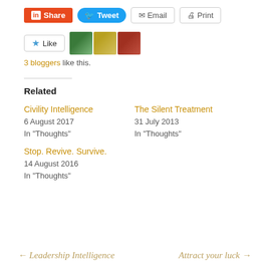[Figure (other): Social share buttons row: LinkedIn Share (orange), Tweet (blue), Email (outline), Print (outline)]
[Figure (other): Like button with star icon and three small avatar thumbnails. Text: 3 bloggers like this.]
3 bloggers like this.
Related
Civility Intelligence
6 August 2017
In "Thoughts"
The Silent Treatment
31 July 2013
In "Thoughts"
Stop. Revive. Survive.
14 August 2016
In "Thoughts"
← Leadership Intelligence     Attract your luck →